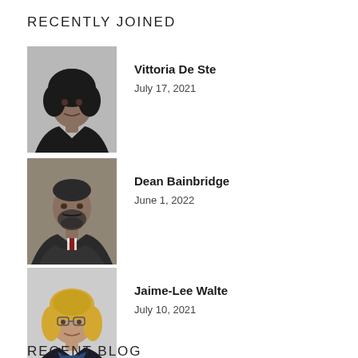RECENTLY JOINED
[Figure (photo): Black and white professional headshot of Vittoria De Ste, a woman with dark curly hair wearing a dark blazer]
Vittoria De Ste
July 17, 2021
[Figure (photo): Professional headshot of Dean Bainbridge, a man with a beard in a suit with arms crossed]
Dean Bainbridge
June 1, 2022
[Figure (photo): Professional headshot of Jaime-Lee Walte, a blonde woman wearing dark clothing]
Jaime-Lee Walte
July 10, 2021
RECENT BLOG